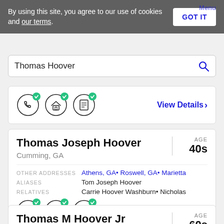By using this site, you agree to our use of cookies and our terms.
Thomas Hoover
[Figure (screenshot): Icons row with phone, home, and document icons each with green checkmark badges, and a View Details link]
Thomas Joseph Hoover
Cumming, GA
AGE 40s
OTHER ADDRESSES: Athens, GA• Roswell, GA• Marietta, G
ALIASES: Tom Joseph Hoover
RELATIVES: Carrie Hoover Washburn• Nicholas Jay
[Figure (screenshot): Icons row with phone, home, and document icons each with green checkmark badges, and a View Details link]
Thomas M Hoover Jr
AGE 60s